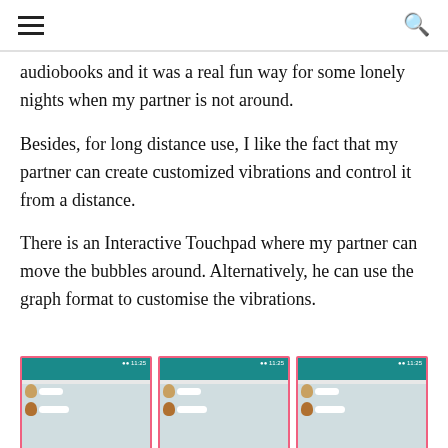≡  🔍
audiobooks and it was a real fun way for some lonely nights when my partner is not around.
Besides, for long distance use, I like the fact that my partner can create customized vibrations and control it from a distance.
There is an Interactive Touchpad where my partner can move the bubbles around. Alternatively, he can use the graph format to customise the vibrations.
[Figure (screenshot): Three side-by-side screenshots of a mobile chat application showing a WhatsApp-like messaging interface with teal header and chat bubbles.]